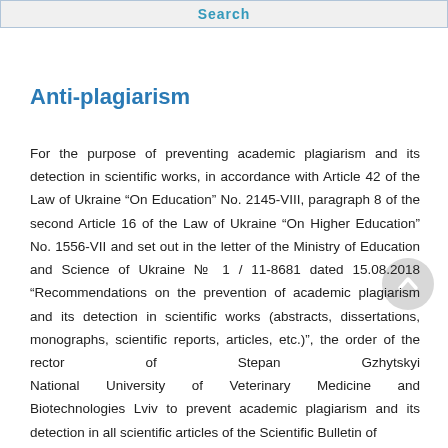Search
Anti-plagiarism
For the purpose of preventing academic plagiarism and its detection in scientific works, in accordance with Article 42 of the Law of Ukraine “On Education” No. 2145-VIII, paragraph 8 of the second Article 16 of the Law of Ukraine “On Higher Education” No. 1556-VII and set out in the letter of the Ministry of Education and Science of Ukraine № 1 / 11-8681 dated 15.08.2018 “Recommendations on the prevention of academic plagiarism and its detection in scientific works (abstracts, dissertations, monographs, scientific reports, articles, etc.)”, the order of the rector of Stepan Gzhytskyi National University of Veterinary Medicine and Biotechnologies Lviv to prevent academic plagiarism and its detection in all scientific articles of the Scientific Bulletin of